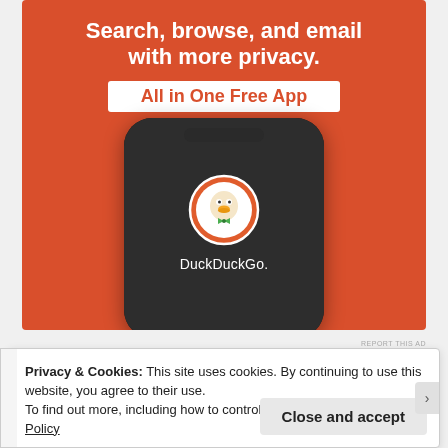[Figure (infographic): DuckDuckGo advertisement showing a smartphone with the DuckDuckGo duck logo on screen, on an orange background. Text reads: 'Search, browse, and email with more privacy. All in One Free App']
REPORT THIS AD
Privacy & Cookies: This site uses cookies. By continuing to use this website, you agree to their use.
To find out more, including how to control cookies, see here: Cookie Policy
Close and accept